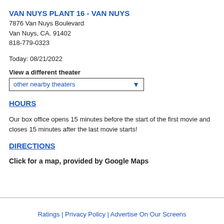VAN NUYS PLANT 16 - VAN NUYS
7876 Van Nuys Boulevard
Van Nuys, CA. 91402
818-779-0323
Today: 08/21/2022
View a different theater
other nearby theaters
HOURS
Our box office opens 15 minutes before the start of the first movie and closes 15 minutes after the last movie starts!
DIRECTIONS
Click for a map, provided by Google Maps
Ratings | Privacy Policy | Advertise On Our Screens